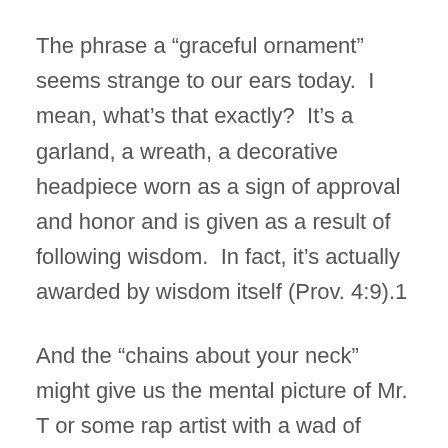The phrase a “graceful ornament” seems strange to our ears today.  I mean, what’s that exactly?  It’s a garland, a wreath, a decorative headpiece worn as a sign of approval and honor and is given as a result of following wisdom.  In fact, it’s actually awarded by wisdom itself (Prov. 4:9).1
And the “chains about your neck” might give us the mental picture of Mr. T or some rap artist with a wad of bling hanging from his neck.  But that’s